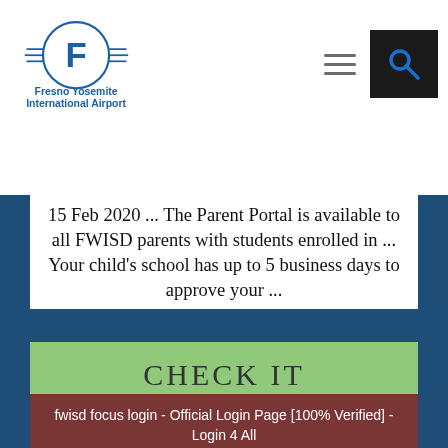[Figure (logo): Fresno Yosemite International Airport logo with stylized F in circle with wings and blue text]
15 Feb 2020 ... The Parent Portal is available to all FWISD parents with students enrolled in ... Your child's school has up to 5 business days to approve your ...
CHECK IT
fwisd focus login - Official Login Page [100% Verified] - Login 4 All
1 Oct 2020 ... Fort Worth ISD Parents – Sign Up for Parent Portal! ... Sign in for quick links to absence reporting, Achieve3000, Focus, itsLearning, Office365, ...